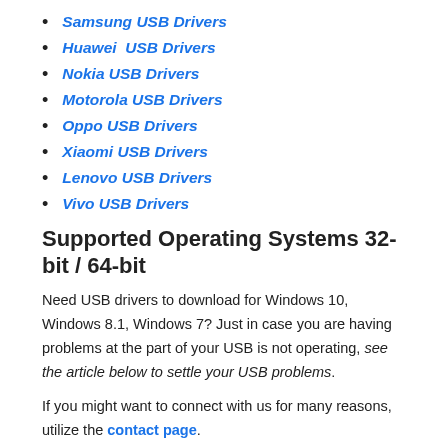Samsung USB Drivers
Huawei  USB Drivers
Nokia USB Drivers
Motorola USB Drivers
Oppo USB Drivers
Xiaomi USB Drivers
Lenovo USB Drivers
Vivo USB Drivers
Supported Operating Systems 32-bit / 64-bit
Need USB drivers to download for Windows 10, Windows 8.1, Windows 7? Just in case you are having problems at the part of your USB is not operating, see the article below to settle your USB problems.
If you might want to connect with us for many reasons, utilize the contact page.